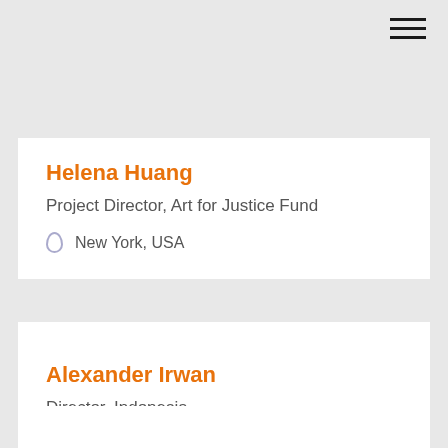[Figure (other): Hamburger menu icon with three horizontal lines in top-right corner]
Helena Huang
Project Director, Art for Justice Fund
New York, USA
Alexander Irwan
Director, Indonesia
Jakarta, Indonesia